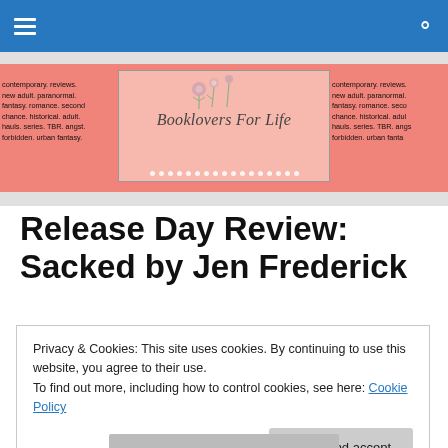Navigation bar with hamburger menu and search icon
[Figure (logo): Booklovers For Life website banner/logo on pink background with decorative text on both sides reading 'contemporary. reviews. new adult. paranormal. fantasy. romance. second chance. historical. adult. hauls. series. TBR. angst. forbidden. urban fantasy.']
Release Day Review: Sacked by Jen Frederick
Privacy & Cookies: This site uses cookies. By continuing to use this website, you agree to their use.
To find out more, including how to control cookies, see here: Cookie Policy
Close and accept